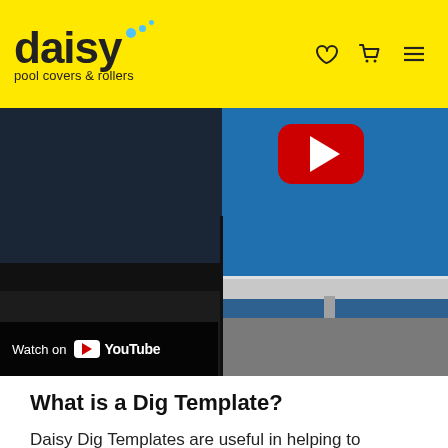daisy pool covers & rollers
[Figure (screenshot): Embedded YouTube video showing a pool roller/dig template installation. Left half shows a dark pool cover scene; right half shows a blue fiberglass pool with a silver roller bar and support leg. A red YouTube play button appears in the upper right of the right panel. A 'Watch on YouTube' overlay bar appears at the bottom left.]
What is a Dig Template?
Daisy Dig Templates are useful in helping to accurately set out the pool location and mark out the dig on fibreglass pools